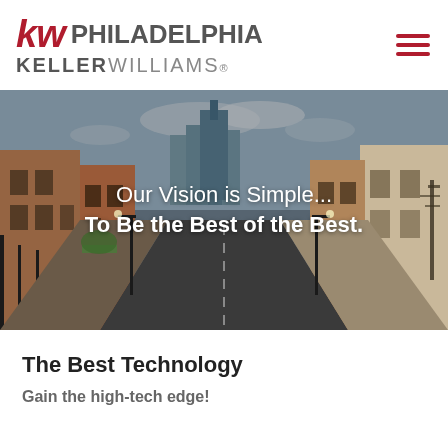kw PHILADELPHIA KELLERWILLIAMS.
[Figure (photo): Street-level photo of a Philadelphia row house neighborhood with brick buildings on both sides leading to the city skyline with modern skyscrapers in the background. Overlaid white text reads: Our Vision is Simple... To Be the Best of the Best.]
The Best Technology
Gain the high-tech edge!